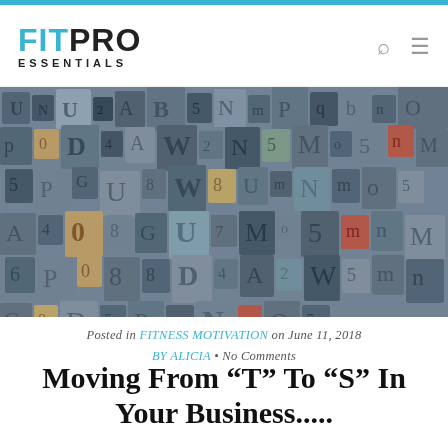FIT PRO ESSENTIALS
[Figure (photo): A large pile of vintage wooden letterpress printing blocks with various letters and numbers, in muted blues, grays, and browns.]
Posted in FITNESS MOTIVATION on June 11, 2018 BY ALICIA • No Comments
Moving From “T” To “S” In Your Business.....
Hope you’re having a great day!